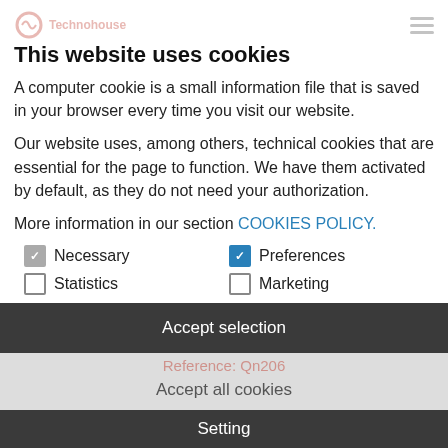Technohouse
This website uses cookies
A computer cookie is a small information file that is saved in your browser every time you visit our website.
Our website uses, among others, technical cookies that are essential for the page to function. We have them activated by default, as they do not need your authorization.
More information in our section COOKIES POLICY.
Necessary
Preferences
Statistics
Marketing
Accept selection
Accept all cookies
Setting
Visits to this property: 358